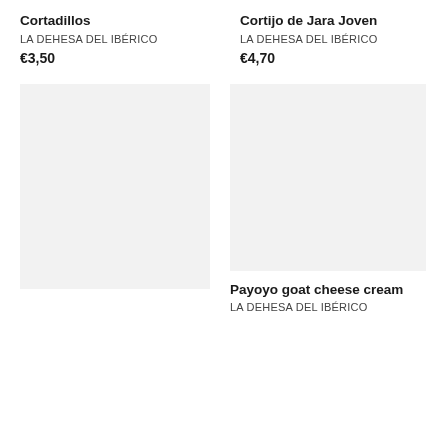Cortadillos
LA DEHESA DEL IBÉRICO
€3,50
Cortijo de Jara Joven
LA DEHESA DEL IBÉRICO
€4,70
[Figure (photo): Product image placeholder (light gray background), left column bottom]
[Figure (photo): Product image placeholder (light gray background), right column bottom]
Payoyo goat cheese cream
LA DEHESA DEL IBÉRICO